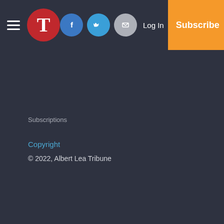T  [Facebook] [Twitter] [Email]  Log In  Subscribe
Subscriptions
Copyright
© 2022, Albert Lea Tribune